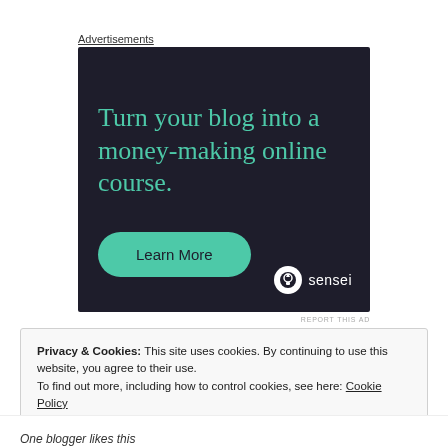Advertisements
[Figure (illustration): Dark navy advertisement for Sensei with teal headline 'Turn your blog into a money-making online course.' and a teal 'Learn More' button, sensei logo bottom right.]
REPORT THIS AD
Privacy & Cookies: This site uses cookies. By continuing to use this website, you agree to their use.
To find out more, including how to control cookies, see here: Cookie Policy
Close and accept
One blogger likes this